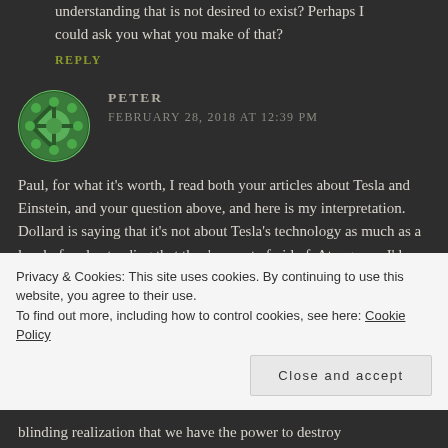understanding that is not desired to exist? Perhaps I could ask you what you make of that?
REPLY
PETER
FEBRUARY 28, 2018 AT 12:39 PM
Paul, for what it's worth, I read both your articles about Tesla and Einstein, and your question above, and here is my interpretation. Dollard is saying that it's not about Tesla's technology as much as a level of understanding that they're most afraid of. At a guess, I'd say that they'd be scared of us achieving understanding only if once we
Privacy & Cookies: This site uses cookies. By continuing to use this website, you agree to their use.
To find out more, including how to control cookies, see here: Cookie Policy
Close and accept
blinding realization that we have the power to destroy